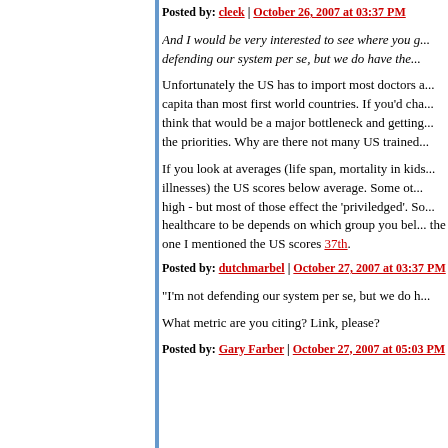Posted by: cleek | October 26, 2007 at 03:37 PM
And I would be very interested to see where you g... defending our system per se, but we do have the...
Unfortunately the US has to import most doctors a... capita than most first world countries. If you'd cha... think that would be a major bottleneck and getting... the priorities. Why are there not many US trained...
If you look at averages (life span, mortality in kids... illnesses) the US scores below average. Some ot... high - but most of those effect the 'priviledged'. So... healthcare to be depends on which group you bel... the one I mentioned the US scores 37th.
Posted by: dutchmarbel | October 27, 2007 at 03:37 PM
"I'm not defending our system per se, but we do h...
What metric are you citing? Link, please?
Posted by: Gary Farber | October 27, 2007 at 05:03 PM